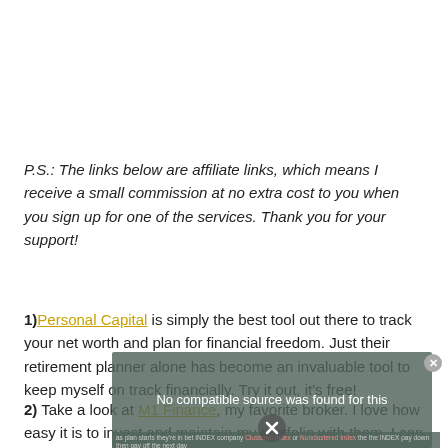P.S.: The links below are affiliate links, which means I receive a small commission at no extra cost to you when you sign up for one of the services. Thank you for your support!
1) Personal Capital is simply the best tool out there to track your net worth and plan for financial freedom. Just their retirement planner alone has become an invaluable tool to keep myself on track financially. Try it out, it's free!
2) Take a look at M1 Finance, my favorite broker. I love how easy it is to invest and maintain my portfolio with them. I can
[Figure (screenshot): Video player overlay showing 'No compatible source was found for this' message with a close button (X) and a partially visible bottom control bar]